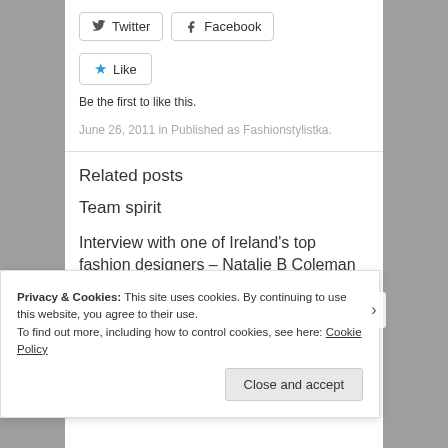[Figure (other): Twitter and Facebook social sharing buttons]
[Figure (other): Like button with star icon]
Be the first to like this.
June 26, 2011 in Published as Fashionstylistka.
Related posts
Team spirit
Interview with one of Ireland’s top fashion designers – Natalie B Coleman
Privacy & Cookies: This site uses cookies. By continuing to use this website, you agree to their use.
To find out more, including how to control cookies, see here: Cookie Policy
Close and accept